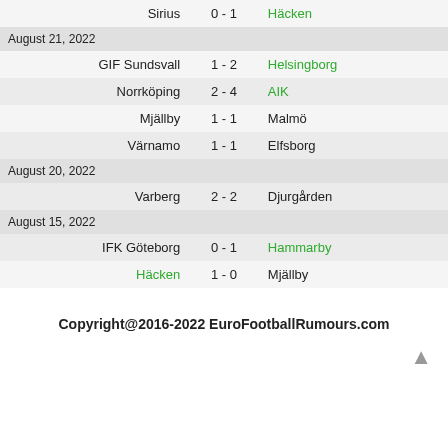| Home | Score | Away |
| --- | --- | --- |
| Sirius | 0 - 1 | Häcken |
| August 21, 2022 |  |  |
| GIF Sundsvall | 1 - 2 | Helsingborg |
| Norrköping | 2 - 4 | AIK |
| Mjällby | 1 - 1 | Malmö |
| Värnamo | 1 - 1 | Elfsborg |
| August 20, 2022 |  |  |
| Varberg | 2 - 2 | Djurgården |
| August 15, 2022 |  |  |
| IFK Göteborg | 0 - 1 | Hammarby |
| Häcken | 1 - 0 | Mjällby |
Copyright@2016-2022 EuroFootballRumours.com